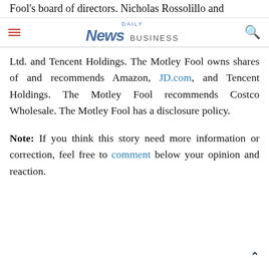Fool's board of directors. Nicholas Rossolillo and
DAILY News BUSINESS
Ltd. and Tencent Holdings. The Motley Fool owns shares of and recommends Amazon, JD.com, and Tencent Holdings. The Motley Fool recommends Costco Wholesale. The Motley Fool has a disclosure policy.
Note: If you think this story need more information or correction, feel free to comment below your opinion and reaction.